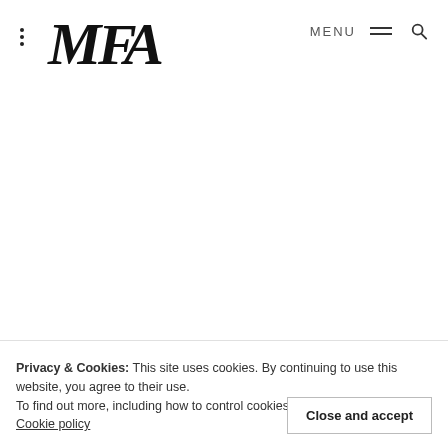[Figure (logo): MFA logo — stylized italic letters M, F, A in black serif font]
MENU
Privacy & Cookies: This site uses cookies. By continuing to use this website, you agree to their use.
To find out more, including how to control cookies, see here: Privacy Policy
Cookie policy
Close and accept